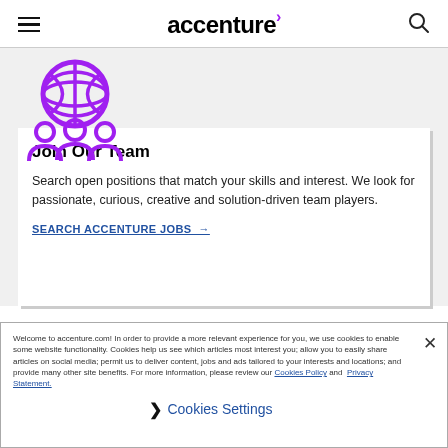accenture
[Figure (illustration): Purple globe with grid lines above three person silhouettes, representing a global team]
Join Our Team
Search open positions that match your skills and interest. We look for passionate, curious, creative and solution-driven team players.
SEARCH ACCENTURE JOBS →
Welcome to accenture.com! In order to provide a more relevant experience for you, we use cookies to enable some website functionality. Cookies help us see which articles most interest you; allow you to easily share articles on social media; permit us to deliver content, jobs and ads tailored to your interests and locations; and provide many other site benefits. For more information, please review our Cookies Policy and Privacy Statement.
Cookies Settings